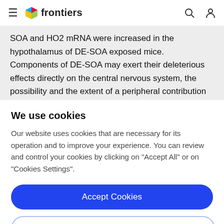frontiers
SOA and HO2 mRNA were increased in the hypothalamus of DE-SOA exposed mice. Components of DE-SOA may exert their deleterious effects directly on the central nervous system, the possibility and the extent of a peripheral contribution to the central effects should
We use cookies
Our website uses cookies that are necessary for its operation and to improve your experience. You can review and control your cookies by clicking on "Accept All" or on "Cookies Settings".
Accept Cookies
Cookies Settings